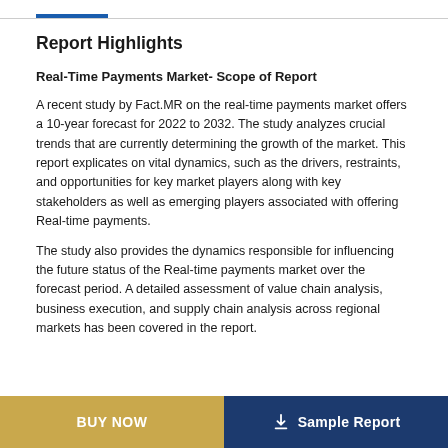Report Highlights
Real-Time Payments Market- Scope of Report
A recent study by Fact.MR on the real-time payments market offers a 10-year forecast for 2022 to 2032. The study analyzes crucial trends that are currently determining the growth of the market. This report explicates on vital dynamics, such as the drivers, restraints, and opportunities for key market players along with key stakeholders as well as emerging players associated with offering Real-time payments.
The study also provides the dynamics responsible for influencing the future status of the Real-time payments market over the forecast period. A detailed assessment of value chain analysis, business execution, and supply chain analysis across regional markets has been covered in the report.
BUY NOW    Sample Report